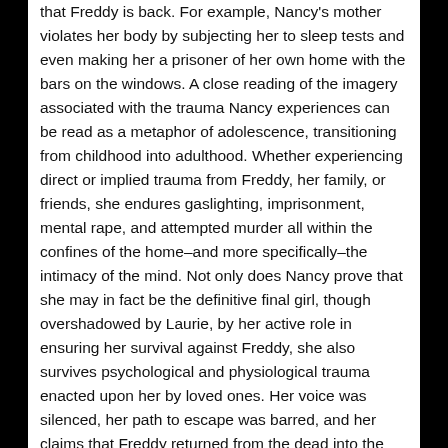that Freddy is back. For example, Nancy's mother violates her body by subjecting her to sleep tests and even making her a prisoner of her own home with the bars on the windows. A close reading of the imagery associated with the trauma Nancy experiences can be read as a metaphor of adolescence, transitioning from childhood into adulthood. Whether experiencing direct or implied trauma from Freddy, her family, or friends, she endures gaslighting, imprisonment, mental rape, and attempted murder all within the confines of the home–and more specifically–the intimacy of the mind. Not only does Nancy prove that she may in fact be the definitive final girl, though overshadowed by Laurie, by her active role in ensuring her survival against Freddy, she also survives psychological and physiological trauma enacted upon her by loved ones. Her voice was silenced, her path to escape was barred, and her claims that Freddy returned from the dead into the dream world were completely dismissed. This parallels what many women face every day–they are not taken seriously or they are patronized. Her character is a metaphor for what many women face daily.